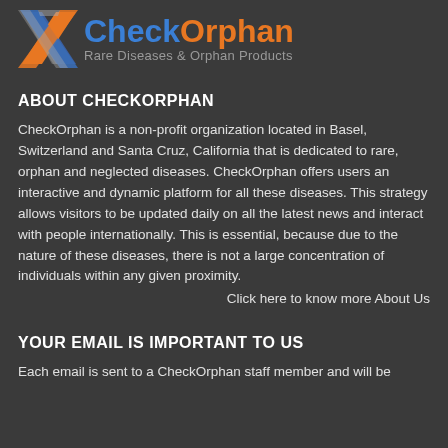[Figure (logo): CheckOrphan logo with X icon in blue/orange/grey and text 'CheckOrphan' with tagline 'Rare Diseases & Orphan Products']
ABOUT CHECKORPHAN
CheckOrphan is a non-profit organization located in Basel, Switzerland and Santa Cruz, California that is dedicated to rare, orphan and neglected diseases. CheckOrphan offers users an interactive and dynamic platform for all these diseases. This strategy allows visitors to be updated daily on all the latest news and interact with people internationally. This is essential, because due to the nature of these diseases, there is not a large concentration of individuals within any given proximity.
Click here to know more About Us
YOUR EMAIL IS IMPORTANT TO US
Each email is sent to a CheckOrphan staff member and will be